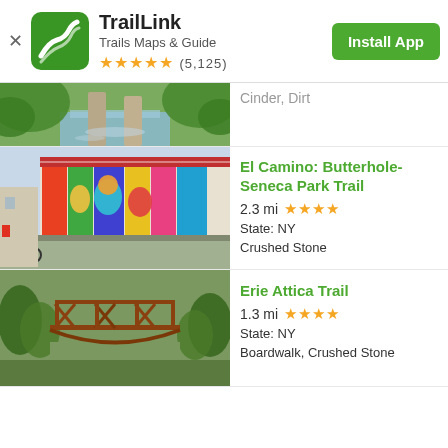TrailLink — Trails Maps & Guide — ★★★★★ (5,125) — Install App
[Figure (photo): Partial trail photo at top — stream with stone pillars and green foliage visible]
Cinder, Dirt
[Figure (photo): Trail along a street wall covered in colorful murals with a bicycle trail visible]
El Camino: Butterhole-Seneca Park Trail
2.3 mi ★★★★ State: NY Crushed Stone
[Figure (photo): Old iron railroad trestle bridge surrounded by trees]
Erie Attica Trail
1.3 mi ★★★★ State: NY Boardwalk, Crushed Stone